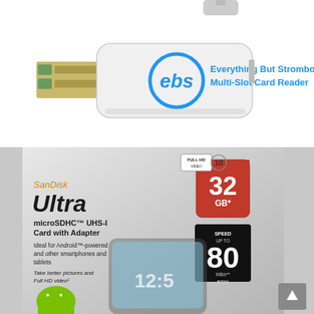[Figure (photo): White USB multi-slot card reader with 'ebs' logo circle and text 'Everything But Stromboli Multi-Slot Card Reader' on top]
[Figure (photo): SanDisk Ultra microSDHC UHS-I Card with Adapter 32GB product box showing card reader, Android robot mascot, smartphone, Full HD Video badge, 80 MB/s 533X speed badge]